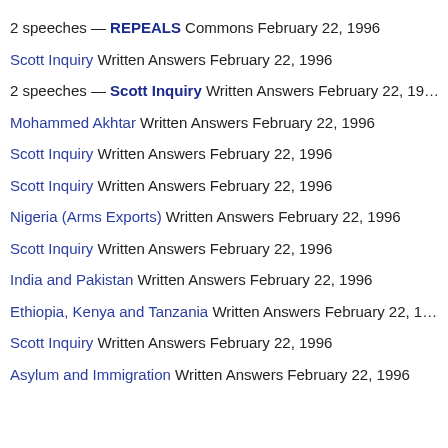2 speeches — REPEALS Commons February 22, 1996
Scott Inquiry Written Answers February 22, 1996
2 speeches — Scott Inquiry Written Answers February 22, 1996
Mohammed Akhtar Written Answers February 22, 1996
Scott Inquiry Written Answers February 22, 1996
Scott Inquiry Written Answers February 22, 1996
Nigeria (Arms Exports) Written Answers February 22, 1996
Scott Inquiry Written Answers February 22, 1996
India and Pakistan Written Answers February 22, 1996
Ethiopia, Kenya and Tanzania Written Answers February 22, 1996
Scott Inquiry Written Answers February 22, 1996
Asylum and Immigration Written Answers February 22, 1996